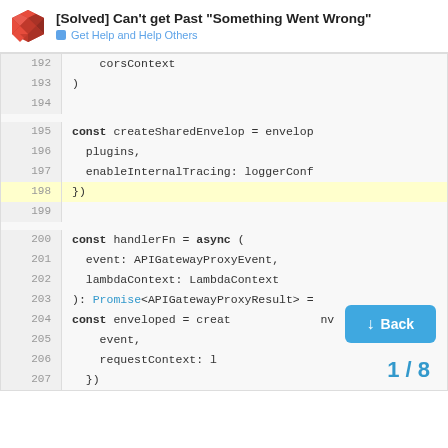[Solved] Can't get Past "Something Went Wrong" — Get Help and Help Others
[Figure (screenshot): Code block showing lines 192-207 of JavaScript/TypeScript code with line numbers. Lines show corsContext, closing brace, const createSharedEnvelop = envelop with plugins and enableInternalTracing: loggerConf, closing }), const handlerFn = async ( with event: APIGatewayProxyEvent, lambdaContext: LambdaContext, ): Promise<APIGatewayProxyResult> =, const enveloped = creat...v, event, requestContext: l, }). Line 198 is highlighted in yellow.]